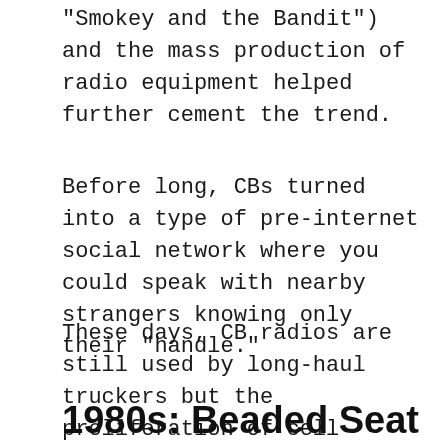“Smokey and the Bandit”) and the mass production of radio equipment helped further cement the trend.
Before long, CBs turned into a type of pre-internet social network where you could speak with nearby strangers knowing only their “handle.”
These days, CB radios are still used by long-haul truckers but the proliferation of cell phones and the internet have made them mostly irrelevant for personal use.
1980s: Beaded Seat